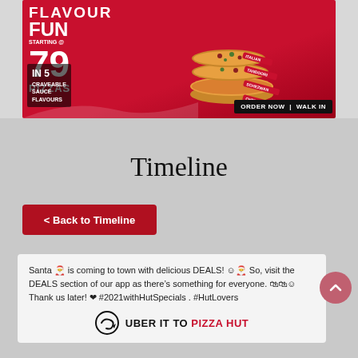[Figure (illustration): Pizza Hut promotional banner: 'FLAVOUR FUN PIZZAS starting @ 79' with pizza stack showing Italian, Tandoori, Schezwan, Cheezy flavours. In 5 Craveable Sauce Flavours. ORDER NOW | WALK IN buttons. Two people reacting to a stack of pizzas.]
Timeline
< Back to Timeline
Santa 🎅 is coming to town with delicious DEALS! ☺️🎅 So, visit the DEALS section of our app as there's something for everyone. 🛍️🛍️☺️ Thank us later! ❤ #2021withHutSpecials . #HutLovers
[Figure (logo): UBER IT TO PIZZA HUT logo with Uber Eats circular arrow icon]